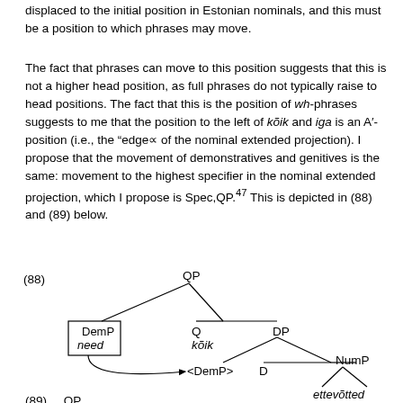displaced to the initial position in Estonian nominals, and this must be a position to which phrases may move.
The fact that phrases can move to this position suggests that this is not a higher head position, as full phrases do not typically raise to head positions. The fact that this is the position of wh-phrases suggests to me that the position to the left of kõik and iga is an A′-position (i.e., the “edge” of the nominal extended projection). I propose that the movement of demonstratives and genitives is the same: movement to the highest specifier in the nominal extended projection, which I propose is Spec,QP.⁴⁷ This is depicted in (88) and (89) below.
[Figure (engineering-diagram): Syntactic tree diagram labeled (88) showing QP at top, branching to DemP (with 'need' in a box, with movement arrow) and a node branching to Q ('kõik') and DP; DP branches to <DemP>, D, and NumP; NumP has 'ettevõtted' at bottom.]
(89) QP